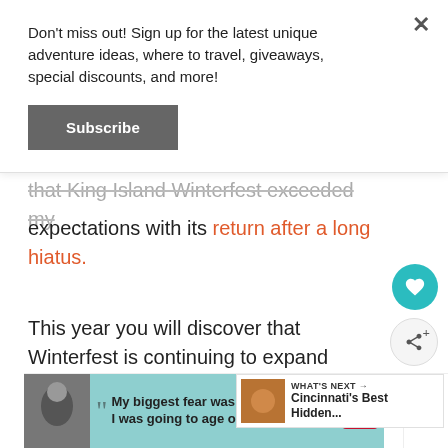Don't miss out! Sign up for the latest unique adventure ideas, where to travel, giveaways, special discounts, and more!
Subscribe
that King Island Winterfest exceeded my expectations with its return after a long hiatus.
This year you will discover that Winterfest is continuing to expand offering more entertainment and adventure options for the whole family.
[Figure (screenshot): Ad banner at bottom: Dave Thomas Foundation for Adoption advertisement with quote text 'My biggest fear was that I was going to age out and']